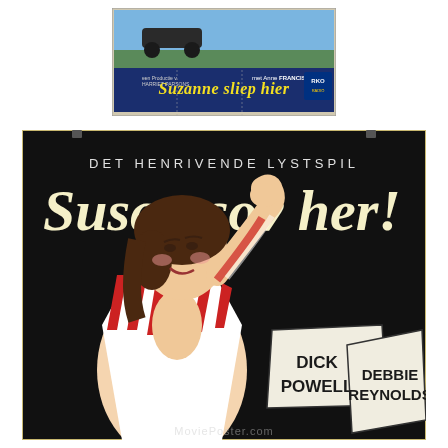[Figure (photo): Small Belgian/Dutch movie poster for 'Suzanne sliep hier' featuring Anne Francis, Harriet Parsons production, with dark blue banner and yellow title text on colorful background with car illustration]
[Figure (photo): Large Danish movie poster for 'Susan sov her!' on black background. Features illustrated woman in red and white striped pajamas smiling. Text reads 'DET HENRIVENDE LYSTSPIL' and 'Susan sov her!' in large white/yellow script. Two white card signs show actor names 'DICK POWELL' and 'DEBBIE REYNOLDS'. Watermark 'MoviePoster.com' at bottom.]